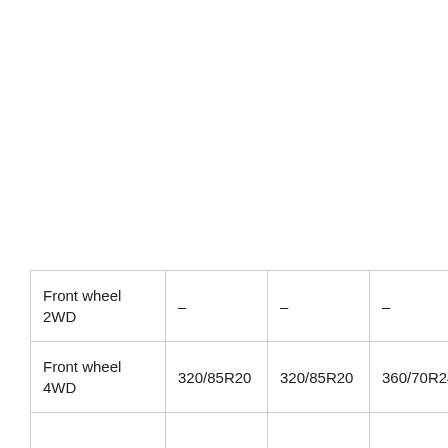| Front wheel 2WD | – | – | – | – |
| Front wheel 4WD | 320/85R20 | 320/85R20 | 360/70R24 | 360 |